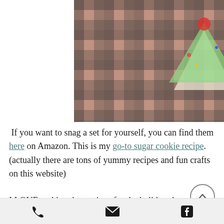[Figure (photo): Hand holding Christmas tree-shaped sugar cookies decorated with green frosting, red M&M candies, and colorful sprinkles, on a plaid tablecloth background]
If you want to snag a set for yourself, you can find them here on Amazon. This is my go-to sugar cookie recipe. (actually there are tons of yummy recipes and fun crafts on this website)
I LOVE making decorations for the holidays but never seem to have the time. A few years
Phone | Email | Facebook